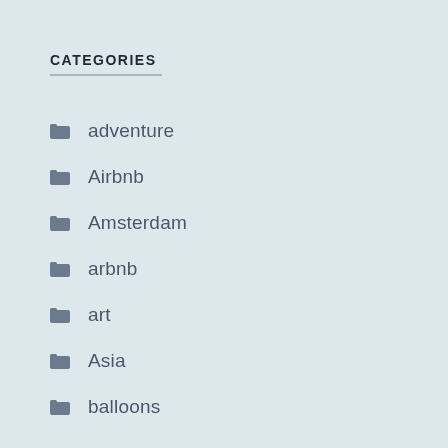CATEGORIES
adventure
Airbnb
Amsterdam
arbnb
art
Asia
balloons